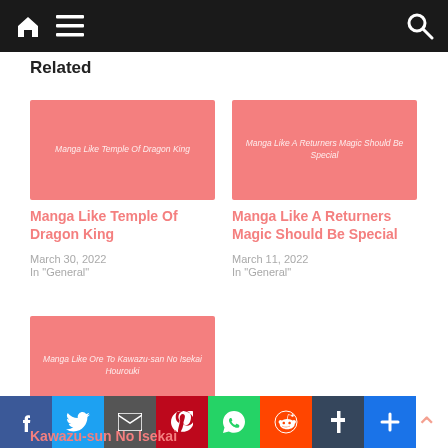Navigation bar with home icon, menu icon, and search icon
Related
[Figure (illustration): Salmon/coral colored thumbnail placeholder for Manga Like Temple Of Dragon King]
Manga Like Temple Of Dragon King
March 30, 2022
In "General"
[Figure (illustration): Salmon/coral colored thumbnail placeholder for Manga Like A Returners Magic Should Be Special]
Manga Like A Returners Magic Should Be Special
March 11, 2022
In "General"
[Figure (illustration): Salmon/coral colored thumbnail placeholder for Manga Like Ore To Kawazu-san No Isekai Hourouki]
Facebook Twitter Email Pinterest WhatsApp Reddit Tumblr Share | Kawazu-san No Isekai